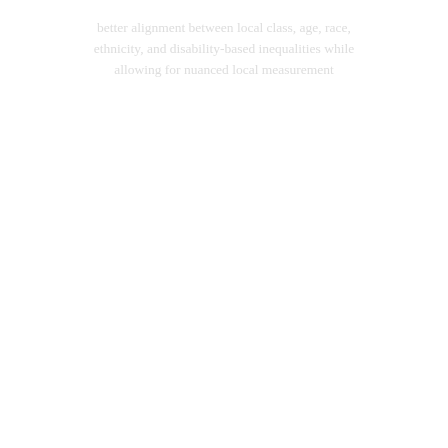better alignment between local class, age, race, ethnicity, and disability-based inequalities while allowing for nuanced local measurement